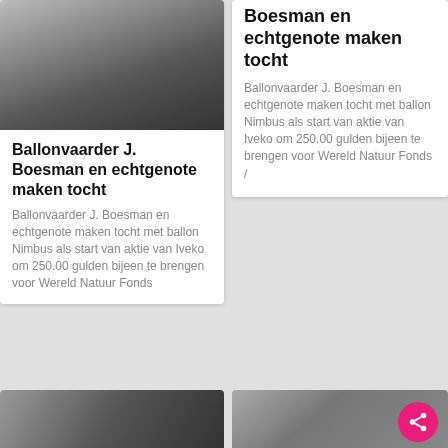[Figure (photo): Black and white photograph of people near an aircraft on a field]
Ballonvaarder J. Boesman en echtgenote maken tocht
Ballonvaarder J. Boesman en echtgenote maken tocht met ballon Nimbus als start van aktie van Iveko om 250.00 gulden bijeen te brengen voor Wereld Natuur Fonds
Boesman en echtgenote maken tocht
Ballonvaarder J. Boesman en echtgenote maken tocht met ballon Nimbus als start van aktie van Iveko om 250.00 gulden bijeen te brengen voor Wereld Natuur Fonds /
[Figure (photo): Black and white photograph, bottom left, partially visible]
[Figure (photo): Black and white photograph, bottom right, partially visible]